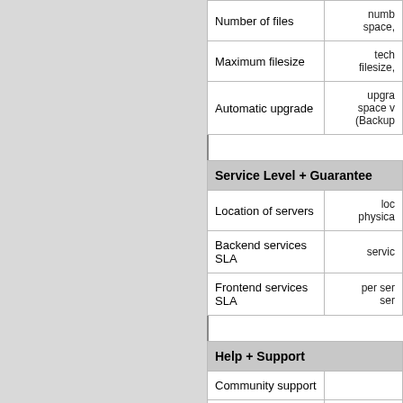| Feature | Details |
| --- | --- |
| Number of files | numb space, |
| Maximum filesize | tech filesize, |
| Automatic upgrade | upgra space v (Backup |
| Service Level + Guarantee |  |
| --- | --- |
| Location of servers | loc physica |
| Backend services SLA | servic |
| Frontend services SLA | per ser ser |
| Help + Support |  |
| --- | --- |
| Community support |  |
| Documentation |  |
| FAQ |  |